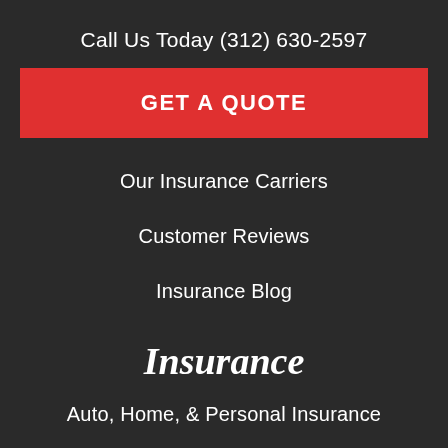Call Us Today (312) 630-2597
GET A QUOTE
Our Insurance Carriers
Customer Reviews
Insurance Blog
Insurance
Auto, Home, & Personal Insurance